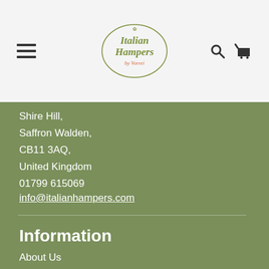[Figure (logo): Italian Hampers by Vorrei logo - script lettering in olive green with red accent text]
Shire Hill,
Saffron Walden,
CB11 3AQ,
United Kingdom
01799 615069
info@italianhampers.com
Information
About Us
Corporate
How to Place an Order